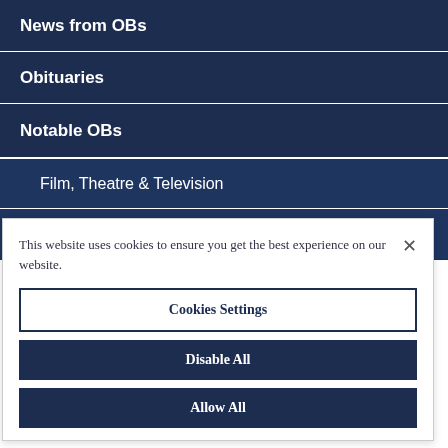News from OBs
Obituaries
Notable OBs
Film, Theatre & Television
Sport
This website uses cookies to ensure you get the best experience on our website.
Cookies Settings
Disable All
Allow All